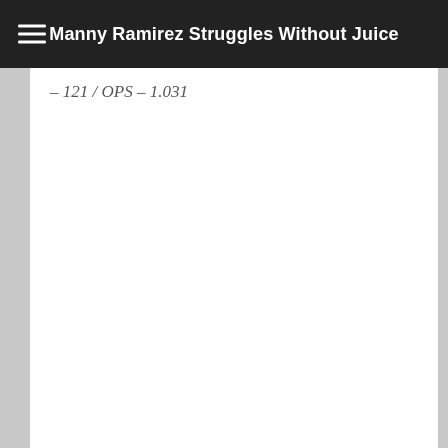Manny Ramirez Struggles Without Juice
– 121 / OPS – 1.031